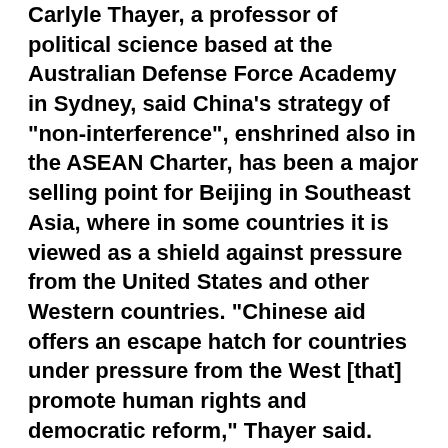Carlyle Thayer, a professor of political science based at the Australian Defense Force Academy in Sydney, said China's strategy of "non-interference", enshrined also in the ASEAN Charter, has been a major selling point for Beijing in Southeast Asia, where in some countries it is viewed as a shield against pressure from the United States and other Western countries. "Chinese aid offers an escape hatch for countries under pressure from the West [that] promote human rights and democratic reform," Thayer said.
Kurlantzick said that Chinese aid was likely to have a "corrosive" effect on good governance and human rights in Asia. "Hun Sen knows how to play China off of the Western donor groups and China's aid - even if not necessarily linked to any downgrading of human rights - could have the effect of a kind of race to the bottom on human rights," he said.
Sophie Richardson, Asia advocacy director at the US-based Human Rights Watch, agreed that unconditional Chinese aid to Cambodia could act as a "financial lifeline" that might otherwise be cut by Western donors.